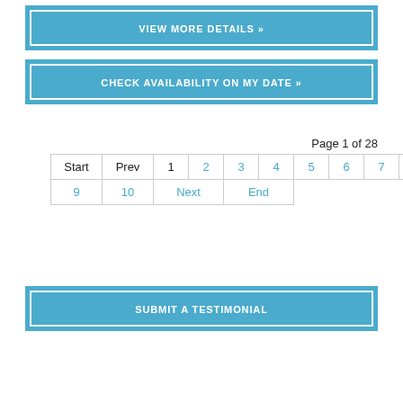VIEW MORE DETAILS »
CHECK AVAILABILITY ON MY DATE »
Page 1 of 28
| Start | Prev | 1 | 2 | 3 | 4 | 5 | 6 | 7 | 8 |
| 9 | 10 | Next | End |
SUBMIT A TESTIMONIAL